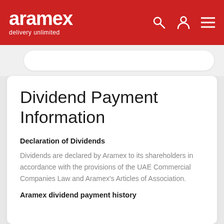aramex delivery unlimited
Dividend Payment Information
Declaration of Dividends
Dividends are declared by Aramex to its shareholders in accordance with the provisions of the UAE Commercial Companies Law and Aramex's Articles of Association.
Aramex dividend payment history